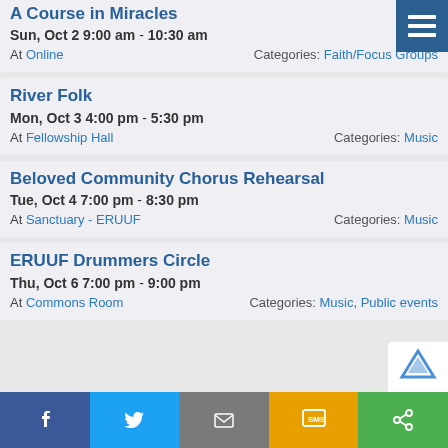A Course in Miracles
Sun, Oct 2 9:00 am - 10:30 am
At Online   Categories: Faith/Focus Groups
River Folk
Mon, Oct 3 4:00 pm - 5:30 pm
At Fellowship Hall   Categories: Music
Beloved Community Chorus Rehearsal
Tue, Oct 4 7:00 pm - 8:30 pm
At Sanctuary - ERUUF   Categories: Music
ERUUF Drummers Circle
Thu, Oct 6 7:00 pm - 9:00 pm
At Commons Room   Categories: Music, Public events